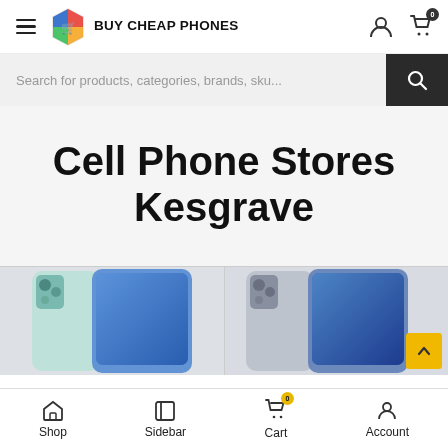[Figure (logo): Buy Cheap Phones logo with hexagonal icon and bold text]
Search for products, categories, brands, sku...
Cell Phone Stores Kesgrave
[Figure (photo): Two smartphones shown side by side at bottom of page]
Shop  Sidebar  Cart 0  Account